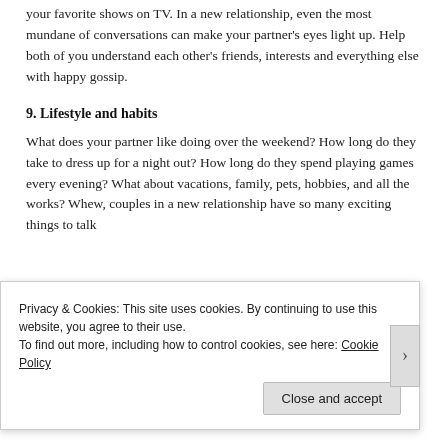your favorite shows on TV. In a new relationship, even the most mundane of conversations can make your partner's eyes light up. Help both of you understand each other's friends, interests and everything else with happy gossip.
9. Lifestyle and habits
What does your partner like doing over the weekend? How long do they take to dress up for a night out? How long do they spend playing games every evening? What about vacations, family, pets, hobbies, and all the works? Whew, couples in a new relationship have so many exciting things to talk
Privacy & Cookies: This site uses cookies. By continuing to use this website, you agree to their use.
To find out more, including how to control cookies, see here: Cookie Policy